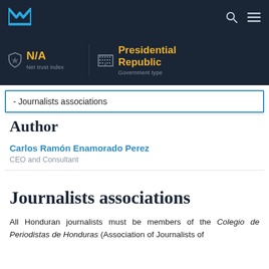M [logo] | [search icon] [menu icon]
N/A | Net trust index | [building icon] Presidential Republic | Government type
- Journalists associations
Author
Carlos Ramón Enamorado Perez
CEO and Consultant
Journalists associations
All Honduran journalists must be members of the Colegio de Periodistas de Honduras (Association of Journalists of